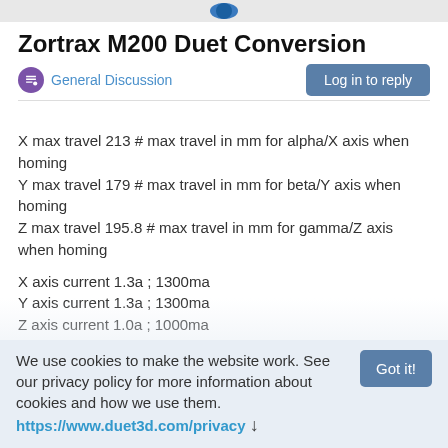Zortrax M200 Duet Conversion
General Discussion
X max travel 213 # max travel in mm for alpha/X axis when homing
Y max travel 179 # max travel in mm for beta/Y axis when homing
Z max travel 195.8 # max travel in mm for gamma/Z axis when homing
X axis current 1.3a ; 1300ma
Y axis current 1.3a ; 1300ma
Z axis current 1.0a ; 1000ma
E current 0.8 or 1.0a ; 800ma or 1000ma
E steps per mm 800 # Steps per mm for extruder stepper
E default feed rate 2700 # Default rate ( mm/minute ) for moves where only the extruder moves
E acceleration 1000 # Acceleration for the stepper motor, as of
We use cookies to make the website work. See our privacy policy for more information about cookies and how we use them. https://www.duet3d.com/privacy